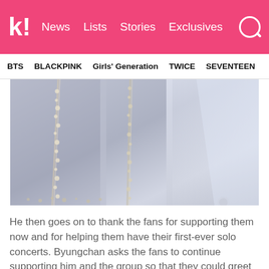k! News  Lists  Stories  Exclusives
BTS   BLACKPINK   Girls' Generation   TWICE   SEVENTEEN
[Figure (photo): Close-up photo of sparkling beaded/sequined fabric, likely performance costumes, in gray and silver tones with crystal embellishments]
He then goes on to thank the fans for supporting them now and for helping them have their first-ever solo concerts. Byungchan asks the fans to continue supporting him and the group so that they could greet the fans as an even brighter VICTON.